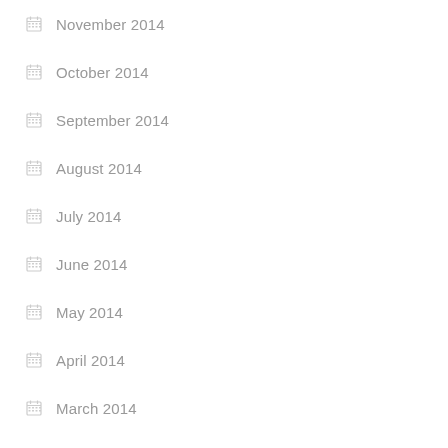November 2014
October 2014
September 2014
August 2014
July 2014
June 2014
May 2014
April 2014
March 2014
About Us
Sitemap